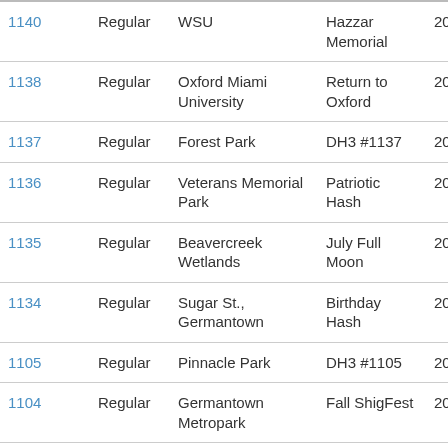| # | Type | Location | Name | Year |
| --- | --- | --- | --- | --- |
| 1140 | Regular | WSU | Hazzar Memorial | 2015 |
| 1138 | Regular | Oxford Miami University | Return to Oxford | 2015 |
| 1137 | Regular | Forest Park | DH3 #1137 | 2015 |
| 1136 | Regular | Veterans Memorial Park | Patriotic Hash | 2015 |
| 1135 | Regular | Beavercreek Wetlands | July Full Moon | 2015 |
| 1134 | Regular | Sugar St., Germantown | Birthday Hash | 2015 |
| 1105 | Regular | Pinnacle Park | DH3 #1105 | 2014 |
| 1104 | Regular | Germantown Metropark | Fall ShigFest | 2014 |
| 1103 | Regular | Meijer, Col Glenn | Full Moon | 2014 |
| 1102 | Regular | Lebanon Kroger | DH3 #1102 | 2014 |
| 1101 | Regular | Dayton Art Institute | SpooOOooOOoky Hash | 2014 |